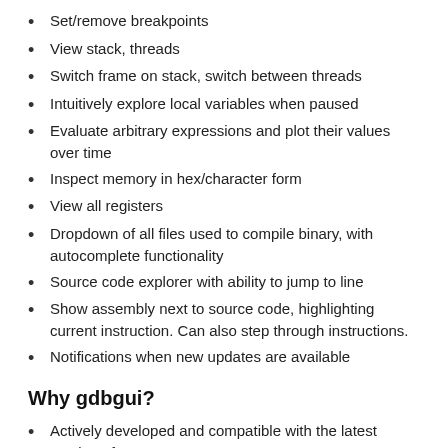Set/remove breakpoints
View stack, threads
Switch frame on stack, switch between threads
Intuitively explore local variables when paused
Evaluate arbitrary expressions and plot their values over time
Inspect memory in hex/character form
View all registers
Dropdown of all files used to compile binary, with autocomplete functionality
Source code explorer with ability to jump to line
Show assembly next to source code, highlighting current instruction. Can also step through instructions.
Notifications when new updates are available
Why gdbgui?
Actively developed and compatible with the latest version of